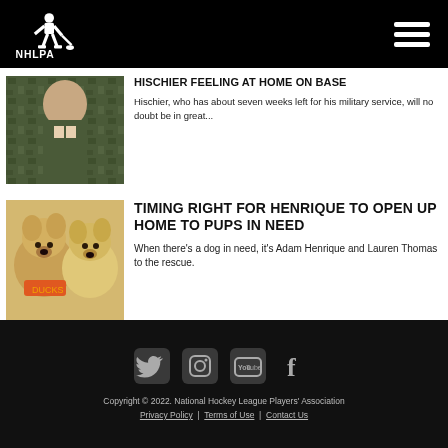NHLPA
HISCHIER FEELING AT HOME ON BASE
Hischier, who has about seven weeks left for his military service, will no doubt be in great...
[Figure (photo): Person in military camouflage uniform looking down at something]
TIMING RIGHT FOR HENRIQUE TO OPEN UP HOME TO PUPS IN NEED
When there's a dog in need, it's Adam Henrique and Lauren Thomas to the rescue.
[Figure (photo): Two fluffy dogs, one wearing an orange jersey]
Copyright © 2022. National Hockey League Players' Association
Privacy Policy | Terms of Use | Contact Us